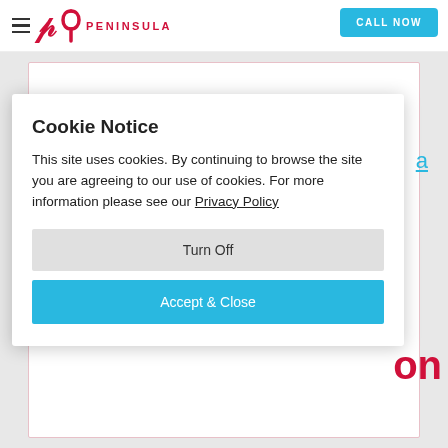Peninsula — CALL NOW
[Figure (screenshot): Peninsula website header with hamburger menu icon, Peninsula logo (stylized P with PENINSULA text), and a cyan 'CALL NOW' button on the right.]
Cookie Notice
This site uses cookies. By continuing to browse the site you are agreeing to our use of cookies. For more information please see our Privacy Policy
Turn Off
Accept & Close